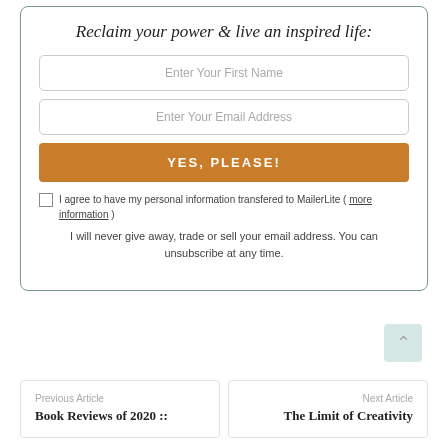Reclaim your power & live an inspired life:
Enter Your First Name
Enter Your Email Address
YES, PLEASE!
I agree to have my personal information transfered to MailerLite ( more information )
I will never give away, trade or sell your email address. You can unsubscribe at any time.
Previous Article
Book Reviews of 2020 ::
Next Article
The Limit of Creativity